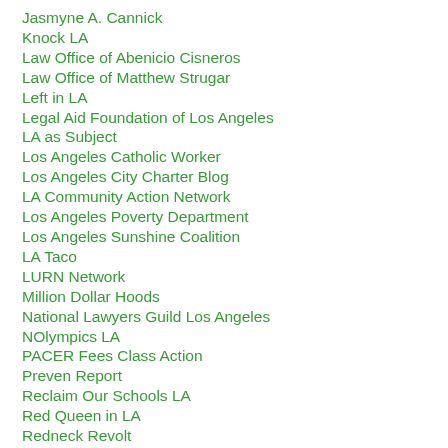Jasmyne A. Cannick
Knock LA
Law Office of Abenicio Cisneros
Law Office of Matthew Strugar
Left in LA
Legal Aid Foundation of Los Angeles
LA as Subject
Los Angeles Catholic Worker
Los Angeles City Charter Blog
LA Community Action Network
Los Angeles Poverty Department
Los Angeles Sunshine Coalition
LA Taco
LURN Network
Million Dollar Hoods
National Lawyers Guild Los Angeles
NOlympics LA
PACER Fees Class Action
Preven Report
Reclaim Our Schools LA
Red Queen in LA
Redneck Revolt
The Renaissance Dump
Restorative Justice for the Arts
San Diegans for Open Government